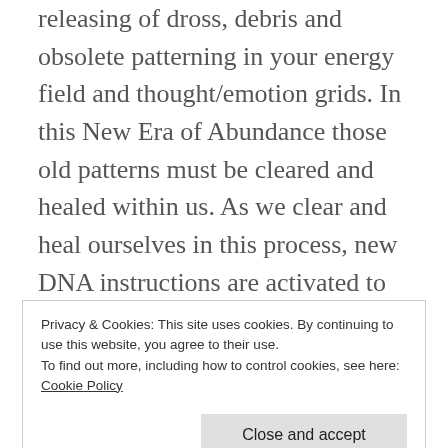releasing of dross, debris and obsolete patterning in your energy field and thought/emotion grids. In this New Era of Abundance those old patterns must be cleared and healed within us. As we clear and heal ourselves in this process, new DNA instructions are activated to build cells capable of holding even greater amounts of energy, light and information. This greater light is our divine inheritance to manifest and live in exceedingly new levels of joy, abundance and enlightenment, and is
Privacy & Cookies: This site uses cookies. By continuing to use this website, you agree to their use.
To find out more, including how to control cookies, see here: Cookie Policy
This level of the Observer Point is when the higher